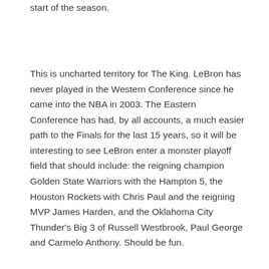start of the season.
This is uncharted territory for The King. LeBron has never played in the Western Conference since he came into the NBA in 2003. The Eastern Conference has had, by all accounts, a much easier path to the Finals for the last 15 years, so it will be interesting to see LeBron enter a monster playoff field that should include: the reigning champion Golden State Warriors with the Hampton 5, the Houston Rockets with Chris Paul and the reigning MVP James Harden, and the Oklahoma City Thunder's Big 3 of Russell Westbrook, Paul George and Carmelo Anthony. Should be fun.